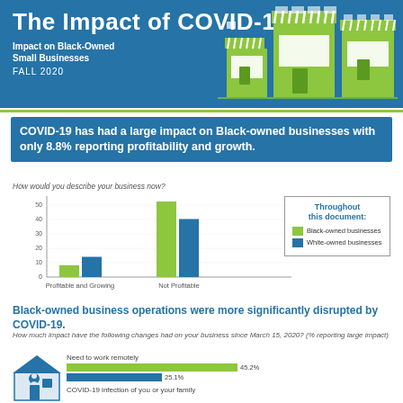The Impact of COVID-19
Impact on Black-Owned Small Businesses
FALL 2020
[Figure (illustration): Green storefront/shop buildings illustration]
COVID-19 has had a large impact on Black-owned businesses with only 8.8% reporting profitability and growth.
How would you describe your business now?
[Figure (grouped-bar-chart): How would you describe your business now?]
Black-owned business operations were more significantly disrupted by COVID-19.
How much impact have the following changes had on your business since March 15, 2020? (% reporting large impact)
[Figure (illustration): House with person icon illustration]
[Figure (bar-chart): Need to work remotely]
COVID-19 infection of you or your family